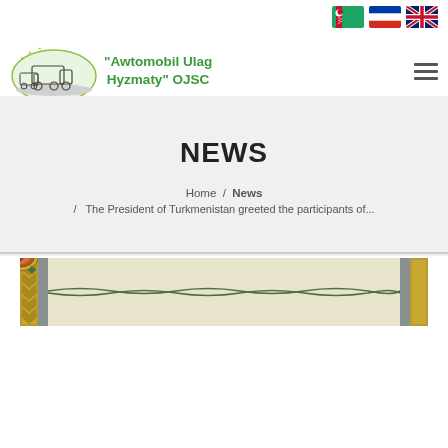[Figure (logo): Awtomobil Ulag Hyzmaty OJSC logo with trucks illustration]
"Awtomobil Ulag Hyzmaty" OJSC
NEWS
Home / News / The President of Turkmenistan greeted the participants of...
[Figure (photo): Decorative Turkmen carpet pattern strip with geometric ornaments in green, gold, and brown colors]